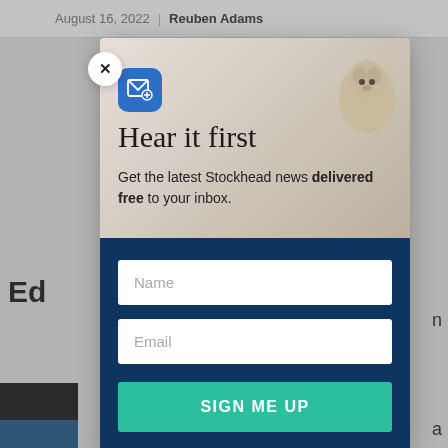August 16, 2022 | Reuben Adams
Ed
[Figure (screenshot): Newsletter signup modal overlay on a website page. Modal has a photo of a groundhog at top right, a blue mail icon, title 'Hear it first', subtitle 'Get the latest Stockhead news delivered free to your inbox.', Name input field, Email input field, and a teal SIGN ME UP button. Background shows partial article page content.]
Hear it first
Get the latest Stockhead news delivered free to your inbox.
Name
Email
SIGN ME UP